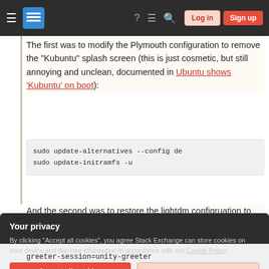Stack Exchange navigation bar with Log in and Sign up buttons
The first was to modify the Plymouth configuration to remove the "Kubuntu" splash screen (this is just cosmetic, but still annoying and unclean, documented in Ubuntu shows 'Kubuntu' on boot):
sudo update-alternatives --config de
sudo update-initramfs -u
And the second was to restore the lightdm configruation to use the unity-greeter
Your privacy
By clicking "Accept all cookies", you agree Stack Exchange can store cookies on your device and disclose information in accordance with our Cookie Policy.
Accept all cookies   Customize settings
greeter-session=unity-greeter